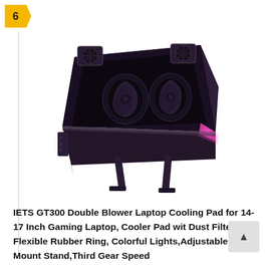6
[Figure (photo): IETS GT300 Double Blower Laptop Cooling Pad with purple/dark color scheme, dual fans visible, pink/magenta RGB lighting on the right side, angled stand legs visible, shown in 3D perspective view]
IETS GT300 Double Blower Laptop Cooling Pad for 14-17 Inch Gaming Laptop, Cooler Pad with Dust Filter, Flexible Rubber Ring, Colorful Lights,Adjustable Mount Stand,Third Gear Speed